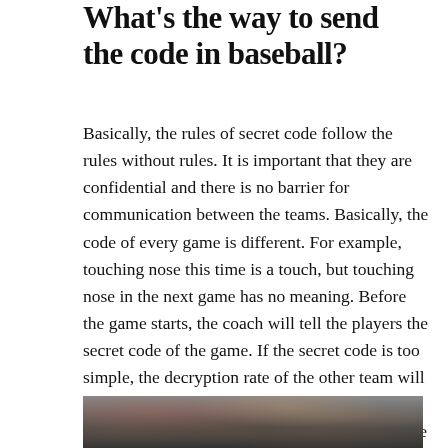What's the way to send the code in baseball?
Basically, the rules of secret code follow the rules without rules. It is important that they are confidential and there is no barrier for communication between the teams. Basically, the code of every game is different. For example, touching nose this time is a touch, but touching nose in the next game has no meaning. Before the game starts, the coach will tell the players the secret code of the game. If the secret code is too simple, the decryption rate of the other team will be higher, which is not good for the team; if the secret code is too complicated, it is also a trouble for the team members.
[Figure (photo): A blurred photo of a crowd at a baseball game, partially visible at the bottom of the page.]